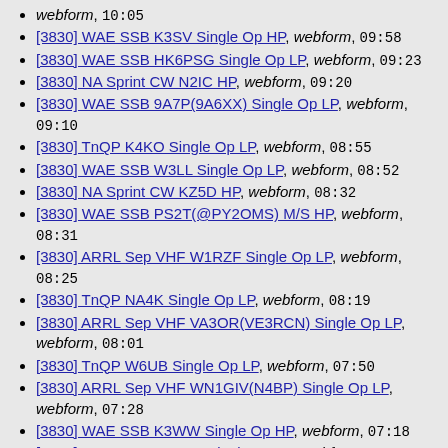webform, 10:05
[3830] WAE SSB K3SV Single Op HP, webform, 09:58
[3830] WAE SSB HK6PSG Single Op LP, webform, 09:23
[3830] NA Sprint CW N2IC HP, webform, 09:20
[3830] WAE SSB 9A7P(9A6XX) Single Op LP, webform, 09:10
[3830] TnQP K4KO Single Op LP, webform, 08:55
[3830] WAE SSB W3LL Single Op LP, webform, 08:52
[3830] NA Sprint CW KZ5D HP, webform, 08:32
[3830] WAE SSB PS2T(@PY2OMS) M/S HP, webform, 08:31
[3830] ARRL Sep VHF W1RZF Single Op LP, webform, 08:25
[3830] TnQP NA4K Single Op LP, webform, 08:19
[3830] ARRL Sep VHF VA3OR(VE3RCN) Single Op LP, webform, 08:01
[3830] TnQP W6UB Single Op LP, webform, 07:50
[3830] ARRL Sep VHF WN1GIV(N4BP) Single Op LP, webform, 07:28
[3830] WAE SSB K3WW Single Op HP, webform, 07:18
[3830] WAE SSB VE3XD Single Op LP, webform, 07:03
[3830] WAE SSB ES1A M/S HP, webform, 06:46
[3830] WAE SSB DK0MN M/S HP, webform, 06:05
[3830] WAE SSB DP7A(DL3NCI) Single Op HP,